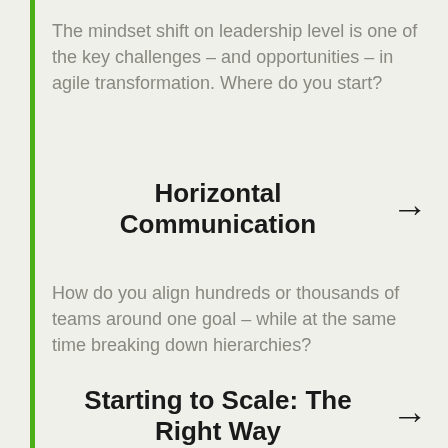The mindset shift on leadership level is one of the key challenges – and opportunities – in agile transformation. Where do you start?
Horizontal Communication
How do you align hundreds or thousands of teams around one goal – while at the same time breaking down hierarchies?
Starting to Scale: The Right Way